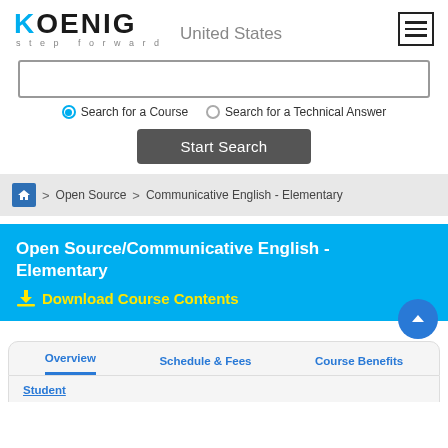KOENIG step forward | United States
Search for a Course | Search for a Technical Answer
Start Search
> Open Source > Communicative English - Elementary
Open Source/Communicative English - Elementary
Download Course Contents
Overview | Schedule & Fees | Course Benefits | Student